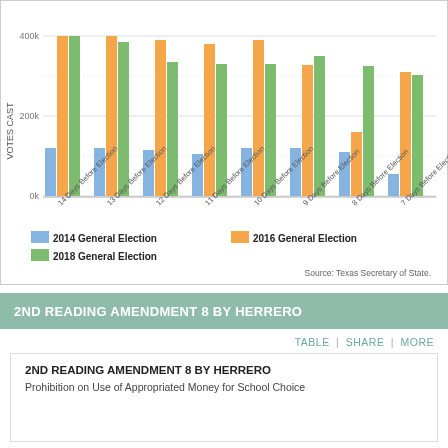[Figure (grouped-bar-chart): Votes Cast by Days Before Election]
Source: Texas Secretary of State.
2ND READING AMENDMENT 8 BY HERRERO
TABLE | SHARE | MORE
2ND READING AMENDMENT 8 BY HERRERO
Prohibition on Use of Appropriated Money for School Choice